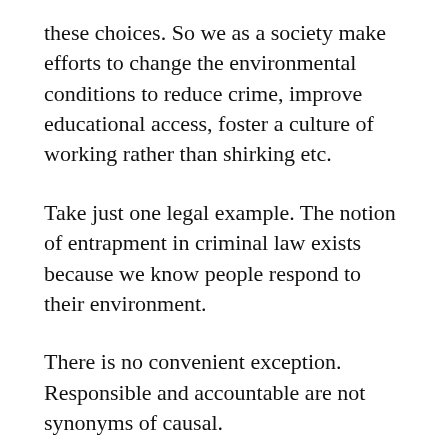these choices. So we as a society make efforts to change the environmental conditions to reduce crime, improve educational access, foster a culture of working rather than shirking etc.
Take just one legal example. The notion of entrapment in criminal law exists because we know people respond to their environment.
There is no convenient exception. Responsible and accountable are not synonyms of causal.
You seem to want to think that the